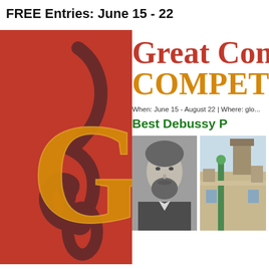FREE Entries: June 15 - 22
[Figure (logo): Red background logo with a large gold stylized G and a dark treble clef overlaid, representing a music competition brand.]
Great Competition
COMPETITION
When: June 15 - August 22 | Where: globally
Best Debussy P
[Figure (photo): Black and white portrait photograph of Claude Debussy, showing a bearded man in formal attire.]
[Figure (photo): Color photograph of a building rooftop with architectural details, a green column structure and stone walls with a tower visible.]